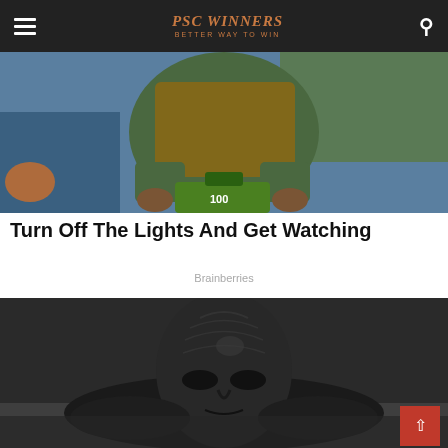PSC WINNERS BETTER WAY TO WIN
[Figure (photo): A person in a jacket holding a wooden board and a green bag, shown from chest down inside a vehicle]
Turn Off The Lights And Get Watching
Brainberries
[Figure (photo): A dark figure or creature with a wrinkled, melting face emerging from dark water or liquid, rendered in monochrome]